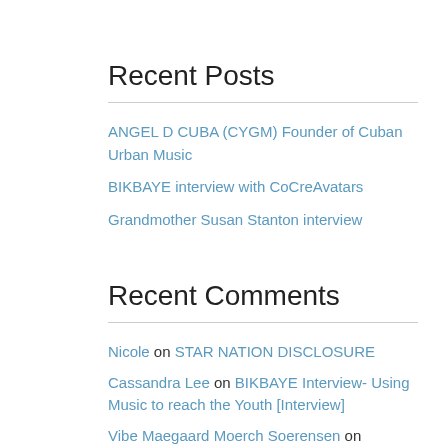Recent Posts
ANGEL D CUBA (CYGM) Founder of Cuban Urban Music
BIKBAYE interview with CoCreAvatars
Grandmother Susan Stanton interview
Recent Comments
Nicole on STAR NATION DISCLOSURE
Cassandra Lee on BIKBAYE Interview- Using Music to reach the Youth [Interview]
Vibe Maegaard Moerch Soerensen on WHIRLING RAINBOW PROPHECY… a message of hope [article] [YouTube]